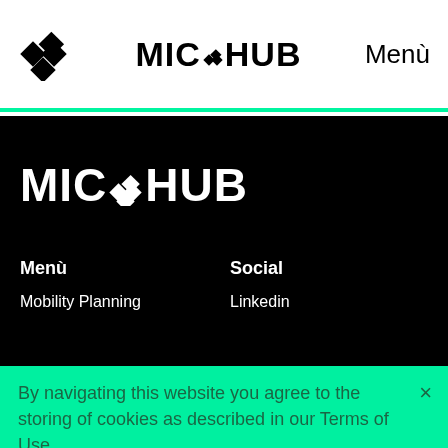MIC❖HUB   Menù
MIC❖HUB
Menù
Mobility Planning
Social
Linkedin
By navigating this website you agree to the storing of cookies as described in our Terms of Use.
More information ↗